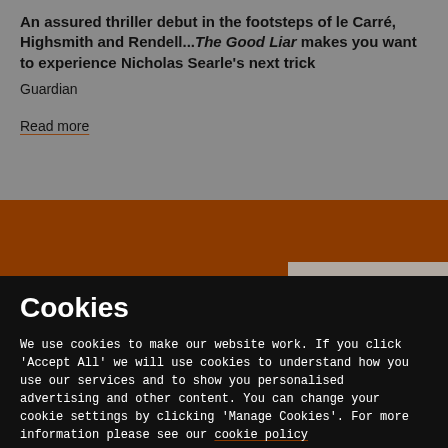An assured thriller debut in the footsteps of le Carré, Highsmith and Rendell...The Good Liar makes you want to experience Nicholas Searle's next trick
Guardian
Read more
Cookies
We use cookies to make our website work. If you click 'Accept All' we will use cookies to understand how you use our services and to show you personalised advertising and other content. You can change your cookie settings by clicking 'Manage Cookies'. For more information please see our cookie policy
MANAGE COOKIE SETTINGS